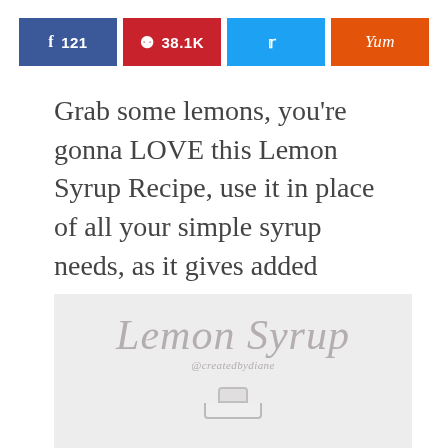[Figure (infographic): Social share bar with four buttons: Facebook (121), Pinterest (38.1K), Twitter (bird icon), Yummly (Yum)]
Grab some lemons, you're gonna LOVE this Lemon Syrup Recipe, use it in place of all your simple syrup needs, as it gives added flavor.
[Figure (photo): Photo area with script text 'Lemon Syrup' and watermark '@createdbydiane', with a jar visible at the bottom]